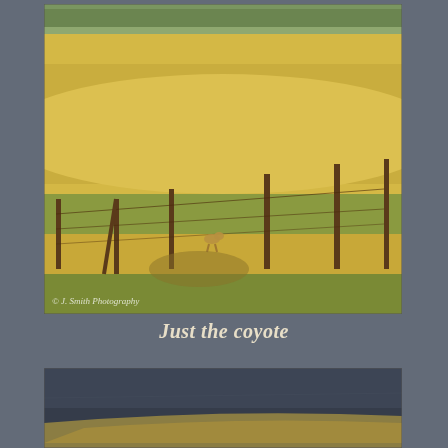[Figure (photo): Photograph of a rural grassland/prairie scene with fence posts along a curved dirt road. Golden hay fields and green grass visible. A coyote can be seen in the middle distance near the fence posts. Watermark reads '© J. Smith Photography' in bottom left corner.]
Just the coyote
[Figure (photo): Partial photograph showing a dark road surface (asphalt) with lighter colored ground or grass visible at the bottom right. The image is cropped and appears to be the top portion of another rural scene.]